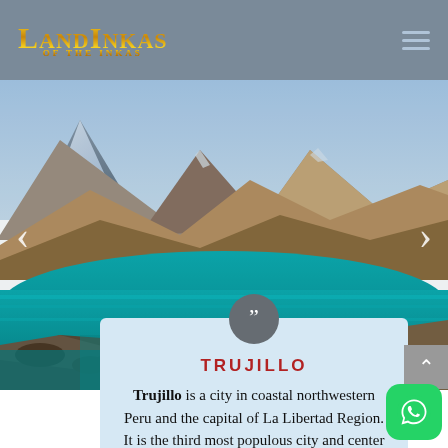LandInkas
[Figure (photo): Turquoise mountain lake with rocky Andean mountains in background under blue sky — landscape photo used as hero image for LandInkas travel website]
TRUJILLO
Trujillo is a city in coastal northwestern Peru and the capital of La Libertad Region. It is the third most populous city and center of the ...